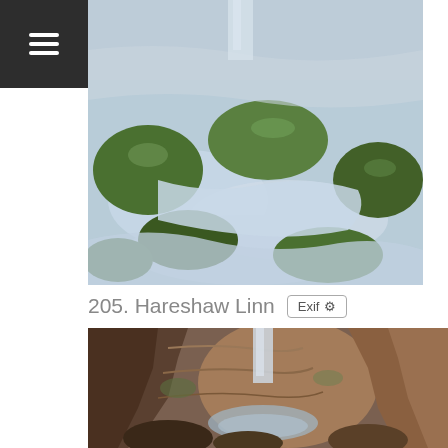[Figure (screenshot): Dark navigation bar with hamburger menu icon (three white horizontal lines) on dark grey background, top left corner]
[Figure (photo): Landscape photograph of a rocky stream or river with moss-covered boulders and smooth silky water flowing between them, long exposure photography]
205. Hareshaw Linn
[Figure (screenshot): Button/badge labeled 'Exif' with a gear icon, grey bordered rounded rectangle]
[Figure (photo): Photograph of a gorge with a waterfall visible in the background, rocky cliff walls with orange and brown tones, some green moss, moody natural light]